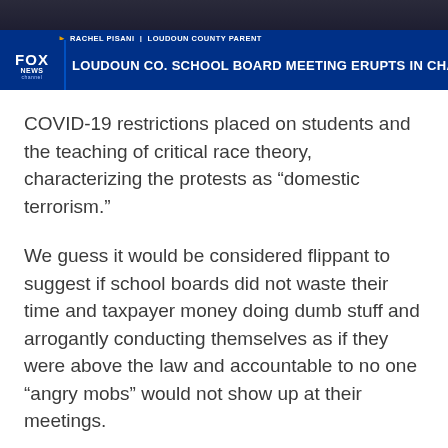[Figure (screenshot): Fox News TV screenshot showing lower-third chyron: 'RACHEL PISANI | LOUDOUN COUNTY PARENT' and headline 'LOUDOUN CO. SCHOOL BOARD MEETING ERUPTS IN CHAOS' with Fox & Friends 'COMING UP' bug on the right.]
COVID-19 restrictions placed on students and the teaching of critical race theory, characterizing the protests as “domestic terrorism.”
We guess it would be considered flippant to suggest if school boards did not waste their time and taxpayer money doing dumb stuff and arrogantly conducting themselves as if they were above the law and accountable to no one “angry mobs” would not show up at their meetings.
But we digress.